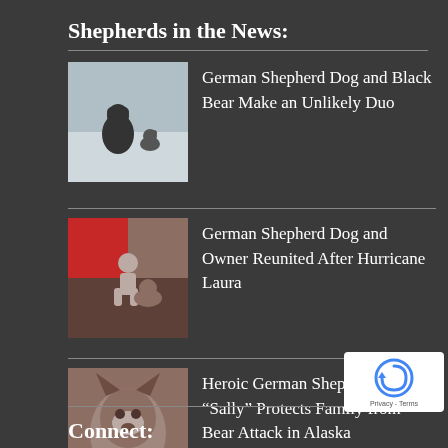Shepherds in the News:
German Shepherd Dog and Black Bear Make an Unlikely Duo
German Shepherd Dog and Owner Reunited After Hurricane Laura
Heroic German Shepherd Dog “Sally” Protects Family from Bear Attack in Alaska
Connect: